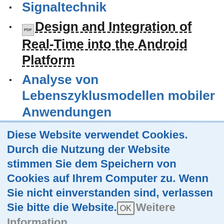Signaltechnik
Design and Integration of Real-Time into the Android Platform
Analyse von Lebenszyklusmodellen mobiler Anwendungen
Diese Website verwendet Cookies. Durch die Nutzung der Website stimmen Sie dem Speichern von Cookies auf Ihrem Computer zu. Wenn Sie nicht einverstanden sind, verlassen Sie bitte die Website. OK Weitere Information